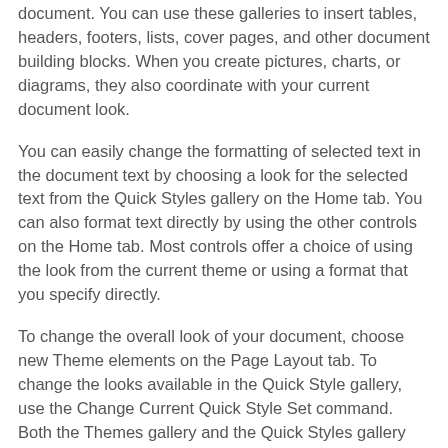document. You can use these galleries to insert tables, headers, footers, lists, cover pages, and other document building blocks. When you create pictures, charts, or diagrams, they also coordinate with your current document look.
You can easily change the formatting of selected text in the document text by choosing a look for the selected text from the Quick Styles gallery on the Home tab. You can also format text directly by using the other controls on the Home tab. Most controls offer a choice of using the look from the current theme or using a format that you specify directly.
To change the overall look of your document, choose new Theme elements on the Page Layout tab. To change the looks available in the Quick Style gallery, use the Change Current Quick Style Set command. Both the Themes gallery and the Quick Styles gallery provide reset commands so that you can always restore the look of your document to the original contained in your current template.